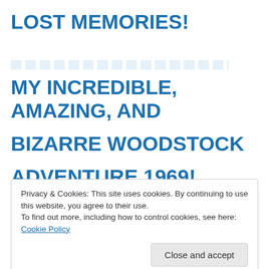LOST MEMORIES!
MY INCREDIBLE, AMAZING, AND BIZARRE WOODSTOCK ADVENTURE 1969!
Privacy & Cookies: This site uses cookies. By continuing to use this website, you agree to their use.
To find out more, including how to control cookies, see here: Cookie Policy
Close and accept